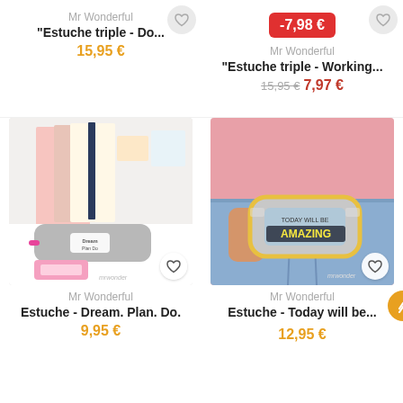Mr Wonderful
"Estuche triple - Do...
15,95 €
-7,98 €
Mr Wonderful
"Estuche triple - Working...
15,95 € 7,97 €
[Figure (photo): Grey pencil case with pink zipper and 'Dream Plan Do' text badge, displayed on a white desk with pink calculator and notebooks in background. mrwonder branding visible.]
Mr Wonderful
Estuche - Dream. Plan. Do.
9,95 €
[Figure (photo): Person in pink top and jeans holding a grey triple pencil case with 'TODAY WILL BE AMAZING' text in yellow and teal. mrwonder branding visible.]
Mr Wonderful
Estuche - Today will be...
12,95 €